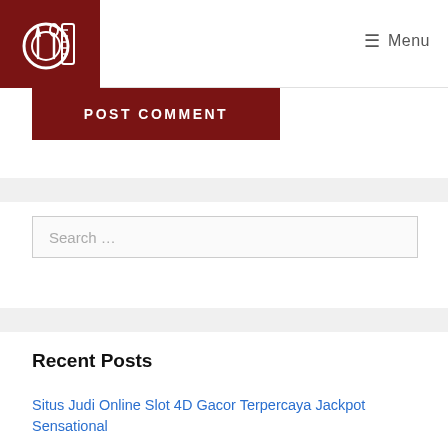[Figure (logo): Restaurant/food logo with plate, fork, spoon and measuring tape icon on dark red background]
☰ Menu
POST COMMENT
Search ...
Recent Posts
Situs Judi Online Slot 4D Gacor Terpercaya Jackpot Sensational